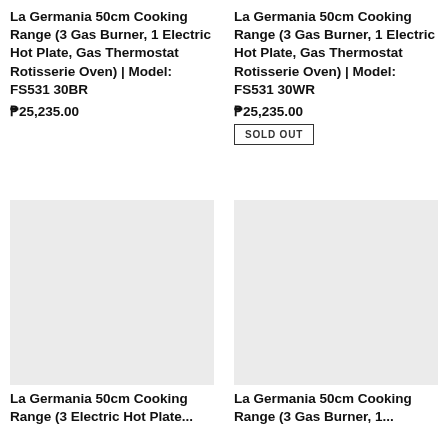La Germania 50cm Cooking Range (3 Gas Burner, 1 Electric Hot Plate, Gas Thermostat Rotisserie Oven) | Model: FS531 30BR
₱25,235.00
La Germania 50cm Cooking Range (3 Gas Burner, 1 Electric Hot Plate, Gas Thermostat Rotisserie Oven) | Model: FS531 30WR
₱25,235.00
SOLD OUT
[Figure (photo): Product image placeholder (light gray background) for La Germania 50cm Cooking Range (3 Electric Hot Plate...)]
La Germania 50cm Cooking Range (3 Electric Hot Plate...
[Figure (photo): Product image placeholder (light gray background) for La Germania 50cm Cooking Range (3 Gas Burner, 1...]
La Germania 50cm Cooking Range (3 Gas Burner, 1...